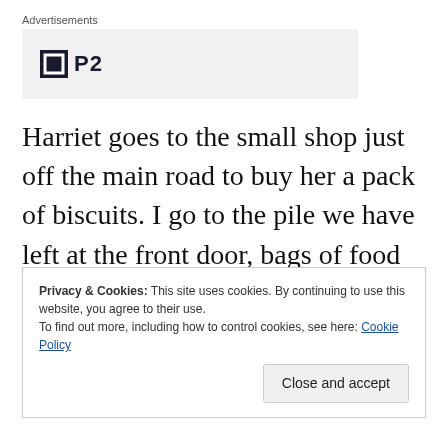Advertisements
[Figure (logo): Advertisement placeholder box with a save/disk icon and text 'P2']
Harriet goes to the small shop just off the main road to buy her a pack of biscuits. I go to the pile we have left at the front door, bags of food we've bought, along with clothing and toys carried from the U.S. I
Privacy & Cookies: This site uses cookies. By continuing to use this website, you agree to their use.
To find out more, including how to control cookies, see here: Cookie Policy
Close and accept
the stuffed dog running toward her belly.